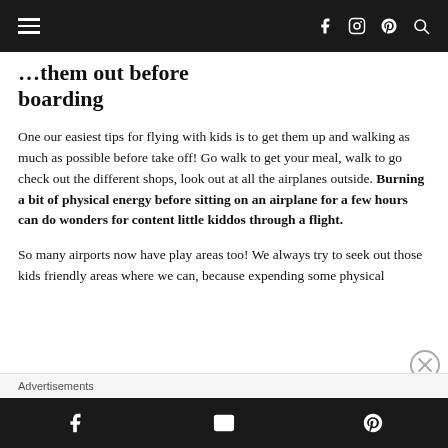Navigation bar with hamburger menu and social icons
...them out before boarding
One our easiest tips for flying with kids is to get them up and walking as much as possible before take off! Go walk to get your meal, walk to go check out the different shops, look out at all the airplanes outside. Burning a bit of physical energy before sitting on an airplane for a few hours can do wonders for content little kiddos through a flight.
So many airports now have play areas too! We always try to seek out those kids friendly areas where we can, because expending some physical
Advertisements
Share bar with Facebook, email, and Pinterest icons